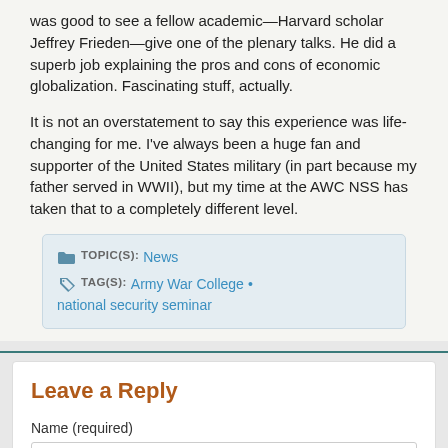was good to see a fellow academic—Harvard scholar Jeffrey Frieden—give one of the plenary talks. He did a superb job explaining the pros and cons of economic globalization. Fascinating stuff, actually.
It is not an overstatement to say this experience was life-changing for me. I've always been a huge fan and supporter of the United States military (in part because my father served in WWII), but my time at the AWC NSS has taken that to a completely different level.
TOPIC(S): News
TAG(S): Army War College • national security seminar
Leave a Reply
Name (required)